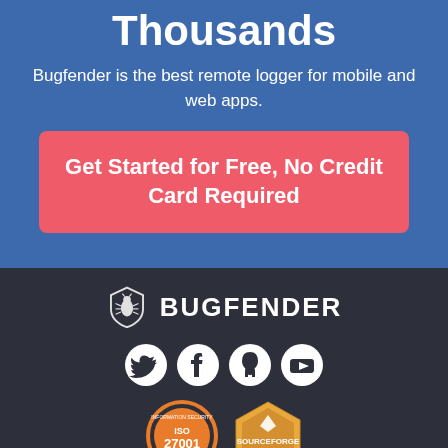Thousands
Bugfender is the best remote logger for mobile and web apps.
Get Started for Free, No Credit Card Required
[Figure (logo): Bugfender shield logo with bug icon and BUGFENDER text]
[Figure (illustration): Social media icons: Twitter, Facebook, GitHub, YouTube]
[Figure (illustration): ISO 27001 security management badge and SourceForge badge]